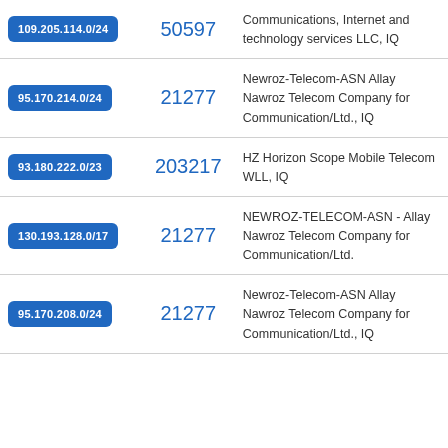| IP Range | ASN | Organization |
| --- | --- | --- |
| 109.205.114.0/24 | 50597 | Communications, Internet and technology services LLC, IQ |
| 95.170.214.0/24 | 21277 | Newroz-Telecom-ASN Allay Nawroz Telecom Company for Communication/Ltd., IQ |
| 93.180.222.0/23 | 203217 | HZ Horizon Scope Mobile Telecom WLL, IQ |
| 130.193.128.0/17 | 21277 | NEWROZ-TELECOM-ASN - Allay Nawroz Telecom Company for Communication/Ltd. |
| 95.170.208.0/24 | 21277 | Newroz-Telecom-ASN Allay Nawroz Telecom Company for Communication/Ltd., IQ |